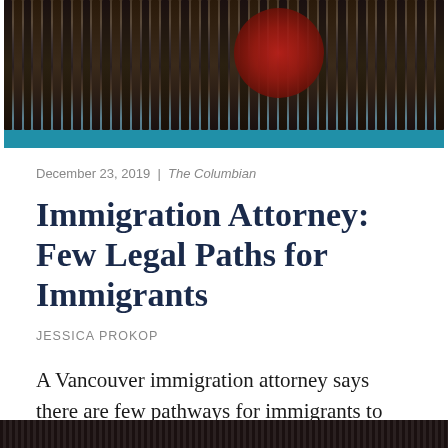[Figure (photo): Photograph of a border fence with painted murals including what appears to be a red circle motif, with a person standing near the fence. A teal/blue horizontal bar runs along the bottom of the image.]
December 23, 2019 | The Columbian
Immigration Attorney: Few Legal Paths for Immigrants
JESSICA PROKOP
A Vancouver immigration attorney says there are few pathways for immigrants to enter and live in the United States legally.
[Figure (photo): Partial view of another photograph at the bottom of the page, cut off.]